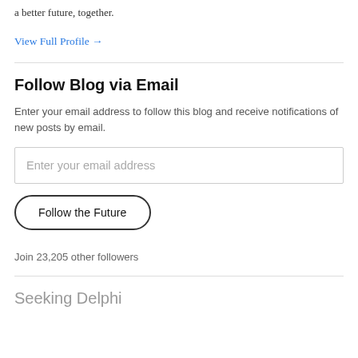a better future, together.
View Full Profile →
Follow Blog via Email
Enter your email address to follow this blog and receive notifications of new posts by email.
Enter your email address
Follow the Future
Join 23,205 other followers
Seeking Delphi